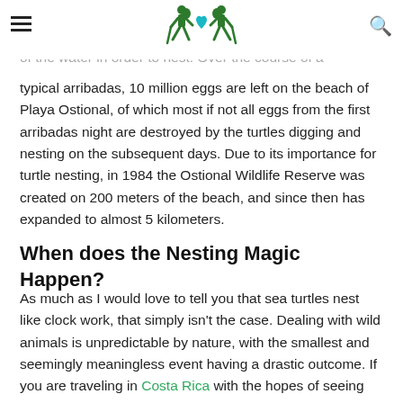[hamburger menu] [logo] [search icon]
becomes a highway of activity during the rainy months when ten's of thousands of sea turtles haul themselves out of the water in order to nest. Over the course of a typical arribadas, 10 million eggs are left on the beach of Playa Ostional, of which most if not all eggs from the first arribadas night are destroyed by the turtles digging and nesting on the subsequent days. Due to its importance for turtle nesting, in 1984 the Ostional Wildlife Reserve was created on 200 meters of the beach, and since then has expanded to almost 5 kilometers.
When does the Nesting Magic Happen?
As much as I would love to tell you that sea turtles nest like clock work, that simply isn't the case. Dealing with wild animals is unpredictable by nature, with the smallest and seemingly meaningless event having a drastic outcome. If you are traveling in Costa Rica with the hopes of seeing sea turtles nesting, the best way to